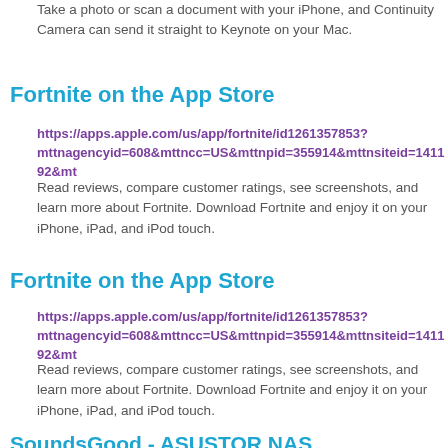Take a photo or scan a document with your iPhone, and Continuity Camera can send it straight to Keynote on your Mac.
Fortnite on the App Store
https://apps.apple.com/us/app/fortnite/id1261357853?mttnagencyid=608&mttncc=US&mttnpid=355914&mttnsiteid=141192&mt...
Read reviews, compare customer ratings, see screenshots, and learn more about Fortnite. Download Fortnite and enjoy it on your iPhone, iPad, and iPod touch.
Fortnite on the App Store
https://apps.apple.com/us/app/fortnite/id1261357853?mttnagencyid=608&mttncc=US&mttnpid=355914&mttnsiteid=141192&mt...
Read reviews, compare customer ratings, see screenshots, and learn more about Fortnite. Download Fortnite and enjoy it on your iPhone, iPad, and iPod touch.
SoundsGood - ASUSTOR NAS
https://www.asustor.com/en/app_central/app_detail?